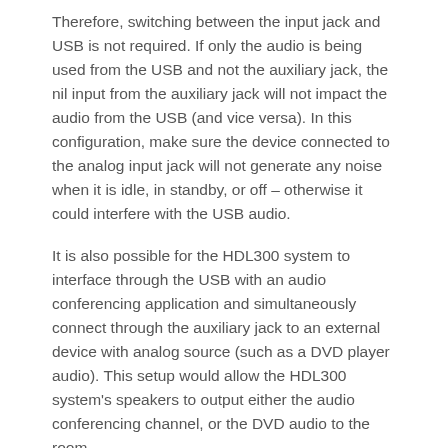Therefore, switching between the input jack and USB is not required. If only the audio is being used from the USB and not the auxiliary jack, the nil input from the auxiliary jack will not impact the audio from the USB (and vice versa). In this configuration, make sure the device connected to the analog input jack will not generate any noise when it is idle, in standby, or off – otherwise it could interfere with the USB audio.
It is also possible for the HDL300 system to interface through the USB with an audio conferencing application and simultaneously connect through the auxiliary jack to an external device with analog source (such as a DVD player audio). This setup would allow the HDL300 system's speakers to output either the audio conferencing channel, or the DVD audio to the room.